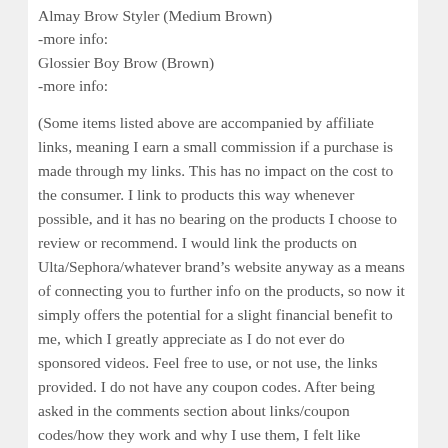Almay Brow Styler (Medium Brown)
-more info:
Glossier Boy Brow (Brown)
-more info:
(Some items listed above are accompanied by affiliate links, meaning I earn a small commission if a purchase is made through my links. This has no impact on the cost to the consumer. I link to products this way whenever possible, and it has no bearing on the products I choose to review or recommend. I would link the products on Ulta/Sephora/whatever brand's website anyway as a means of connecting you to further info on the products, so now it simply offers the potential for a slight financial benefit to me, which I greatly appreciate as I do not ever do sponsored videos. Feel free to use, or not use, the links provided. I do not have any coupon codes. After being asked in the comments section about links/coupon codes/how they work and why I use them, I felt like providing this explanation! Thanks!)
Profound Thought:
“Worry does not empty tomorrow of its sorrow. It empties today of its strength.”